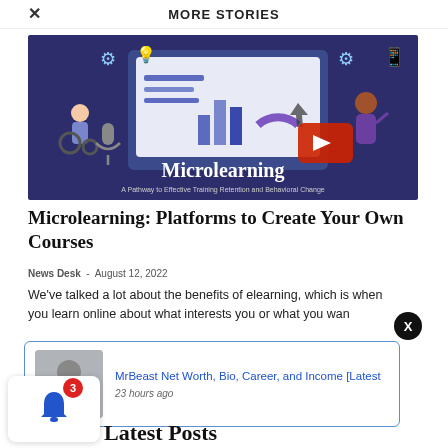× MORE STORIES
[Figure (illustration): Microlearning banner image showing cartoon figures interacting with a large screen displaying charts and data. Text reads 'Microlearning: A Pathway to Effective Training Retention and Behavioral Change']
Microlearning: Platforms to Create Your Own Courses
News Desk - August 12, 2022
We've talked a lot about the benefits of elearning, which is when you learn online about what interests you or what you want
[Figure (screenshot): Promo card with MrBeast photo and link: 'MrBeast Net Worth, Bio, Career, and Income [Latest' - 23 hours ago]
Latest Posts